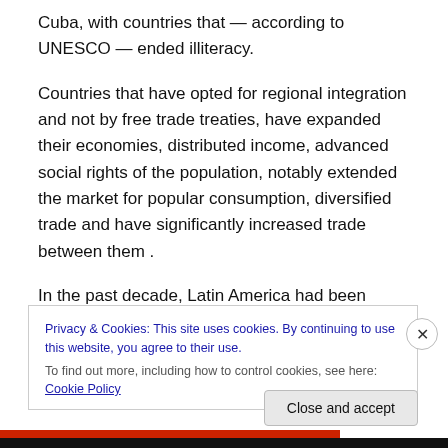Cuba, with countries that — according to UNESCO — ended illiteracy.
Countries that have opted for regional integration and not by free trade treaties, have expanded their economies, distributed income, advanced social rights of the population, notably extended the market for popular consumption, diversified trade and have significantly increased trade between them .
In the past decade, Latin America had been reduced to insignificance. Subordinate rulers — Menem, Fuiimori
Privacy & Cookies: This site uses cookies. By continuing to use this website, you agree to their use.
To find out more, including how to control cookies, see here: Cookie Policy
Close and accept